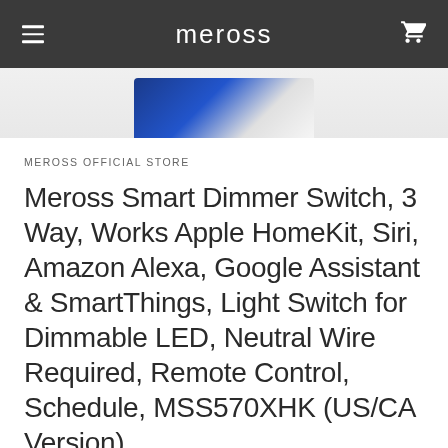meross
[Figure (photo): Partial product image showing top portion of Meross smart dimmer switch with blue and white coloring against light gray background]
MEROSS OFFICIAL STORE
Meross Smart Dimmer Switch, 3 Way, Works Apple HomeKit, Siri, Amazon Alexa, Google Assistant & SmartThings, Light Switch for Dimmable LED, Neutral Wire Required, Remote Control, Schedule, MSS570XHK (US/CA Version)
$42.99